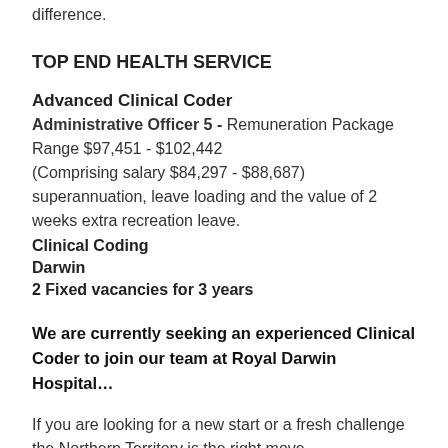difference.
TOP END HEALTH SERVICE
Advanced Clinical Coder
Administrative Officer 5 - Remuneration Package Range $97,451 - $102,442
(Comprising salary $84,297 - $88,687) superannuation, leave loading and the value of 2 weeks extra recreation leave.
Clinical Coding
Darwin
2 Fixed vacancies for 3 years
We are currently seeking an experienced Clinical Coder to join our team at Royal Darwin Hospital…
If you are looking for a new start or a fresh challenge the Northern Territory is the right move.